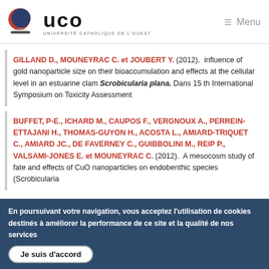UCO — UNIVERSITÉ CATHOLIQUE DE L'OUEST | Menu
GILLAND D., MOUNEYRAC C. et JOUBERT Y. (2012). influence of gold nanoparticle size on their bioaccumulation and effects at the cellular level in an estuarine clam Scrobicularia plana. Dans 15 th International Symposium on Toxicity Assessment
BUFFET, P-E., ICHARD M., CAUPOS F., VERGNOUX A., PERREIN-ETTAJANI H., THOMAS-GUYON H., ACOSTA L., AMIARD-TRIQUET C., AMIARD JC., DE FAVERNEY C., GUIBBOLINI M., REIP P., VALSAMI-JONES E. et MOUNEYRAC C. (2012). A mesocosm study of fate and effects of CuO nanoparticles on endobenthic species (Scrobicularia
En poursuivant votre navigation, vous acceptez l'utilisation de cookies destinés à améliorer la performance de ce site et la qualité de nos services
Je suis d'accord